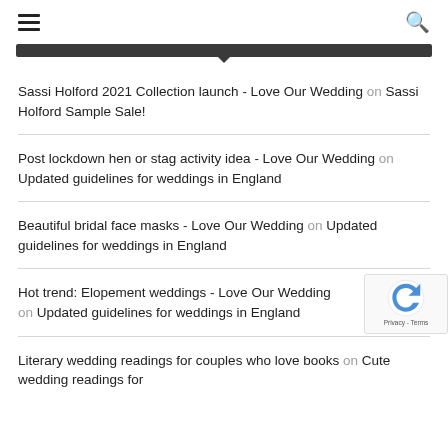☰  🔍
Sassi Holford 2021 Collection launch - Love Our Wedding on Sassi Holford Sample Sale!
Post lockdown hen or stag activity idea - Love Our Wedding on Updated guidelines for weddings in England
Beautiful bridal face masks - Love Our Wedding on Updated guidelines for weddings in England
Hot trend: Elopement weddings - Love Our Wedding on Updated guidelines for weddings in England
Literary wedding readings for couples who love books on Cute wedding readings for